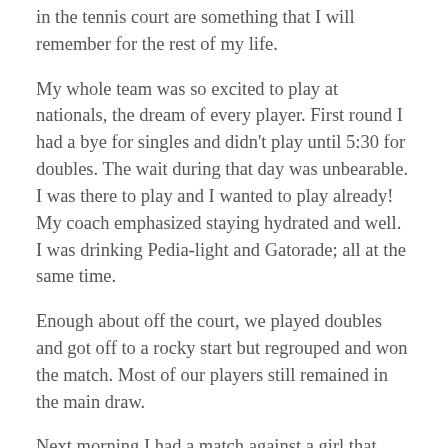in the tennis court are something that I will remember for the rest of my life.
My whole team was so excited to play at nationals, the dream of every player. First round I had a bye for singles and didn't play until 5:30 for doubles. The wait during that day was unbearable. I was there to play and I wanted to play already! My coach emphasized staying hydrated and well. I was drinking Pedia-light and Gatorade; all at the same time.
Enough about off the court, we played doubles and got off to a rocky start but regrouped and won the match. Most of our players still remained in the main draw.
Next morning I had a match against a girl that played a 3 hour match the day before. I thought it would be an easy